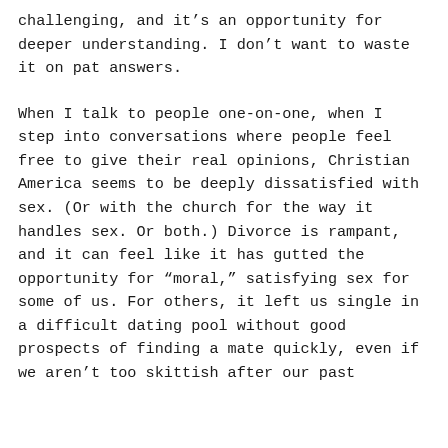challenging, and it's an opportunity for deeper understanding. I don't want to waste it on pat answers.
When I talk to people one-on-one, when I step into conversations where people feel free to give their real opinions, Christian America seems to be deeply dissatisfied with sex. (Or with the church for the way it handles sex. Or both.) Divorce is rampant, and it can feel like it has gutted the opportunity for “moral,” satisfying sex for some of us. For others, it left us single in a difficult dating pool without good prospects of finding a mate quickly, even if we aren’t too skittish after our past